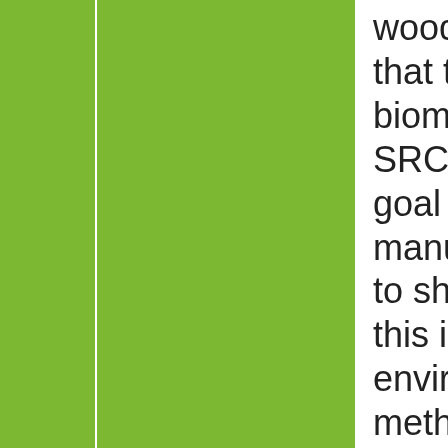wood. We firmly believe that the valorization of the biomass produced by SRCs, with the ultimate goal of surfboard manufacturing, is critical to shift the mentality that this is just an environmental conceptual methodology for those who believe in greener solutions, ignoring its financial cost. With the introduction of the liquefaction process, this method of production can become feasible